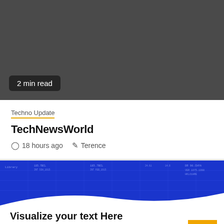[Figure (other): Dark gray banner image area, partially cropped at top]
2 min read
Techno Update
TechNewsWorld
⊙ 18 hours ago  ✎ Terence
[Figure (screenshot): Screenshot of a PowerPoint/presentation template with blue blueprint header and white content area showing 'Visualize your text Here' title and numbered list items: 1. Download this awesome template  2. Bring your presentation to life]
1. Download this awesome template
2. Bring your presentation to life